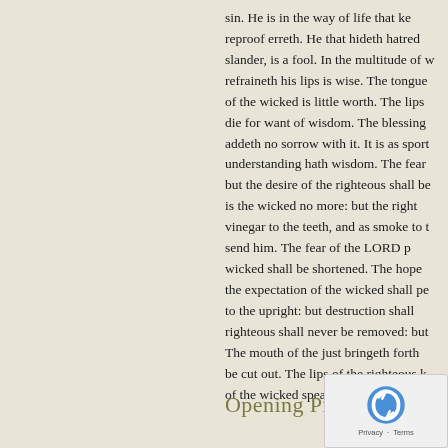sin. He is in the way of life that ke reproof erreth. He that hideth hatred slander, is a fool. In the multitude of w refraineth his lips is wise. The tongue of the wicked is little worth. The lips die for want of wisdom. The blessing addeth no sorrow with it. It is as sport understanding hath wisdom. The fear but the desire of the righteous shall be is the wicked no more: but the right vinegar to the teeth, and as smoke to t send him. The fear of the LORD p wicked shall be shortened. The hope the expectation of the wicked shall pe to the upright: but destruction shall righteous shall never be removed: but The mouth of the just bringeth forth be cut out. The lips of the righteous k of the wicked speaketh fro
Opening Prayer